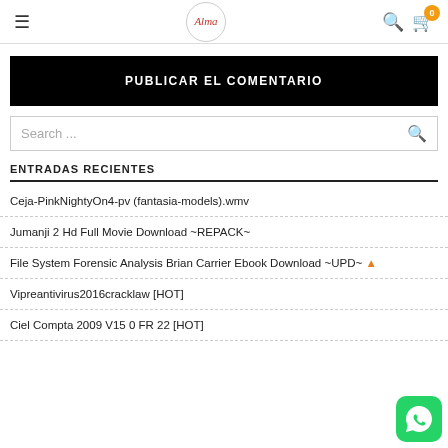≡  Alma  🔍  🛒 0
PUBLICAR EL COMENTARIO
Search ...
ENTRADAS RECIENTES
Ceja-PinkNightyOn4-pv (fantasia-models).wmv
Jumanji 2 Hd Full Movie Download ~REPACK~
File System Forensic Analysis Brian Carrier Ebook Download ~UPD~ 🔔
Vipreantivirus2016cracklaw [HOT]
Ciel Compta 2009 V15 0 FR 22 [HOT]